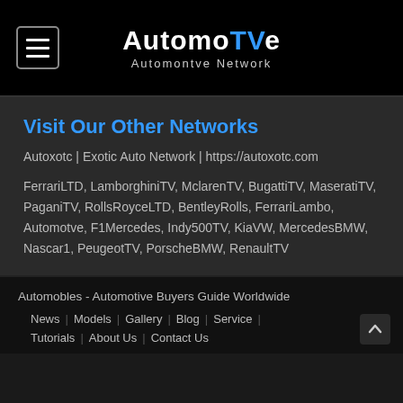AutomoTVe — Automontve Network
Visit Our Other Networks
Autoxotc | Exotic Auto Network | https://autoxotc.com
FerrariLTD, LamborghiniTV, MclarenTV, BugattiTV, MaseratiTV, PaganiTV, RollsRoyceLTD, BentleyRolls, FerrariLambo, Automotve, F1Mercedes, Indy500TV, KiaVW, MercedesBMW, Nascar1, PeugeotTV, PorscheBMW, RenaultTV
Automobles - Automotive Buyers Guide Worldwide | News | Models | Gallery | Blog | Service | Tutorials | About Us | Contact Us